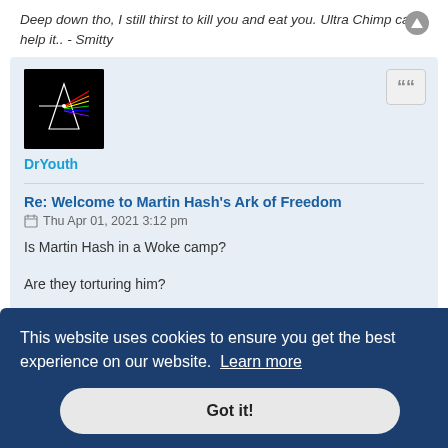Deep down tho, I still thirst to kill you and eat you. Ultra Chimp can't help it.. - Smitty
DrYouth
Re: Welcome to Martin Hash's Ark of Freedom
Thu Apr 01, 2021 3:12 pm
Is Martin Hash in a Woke camp?
Are they torturing him?
This website uses cookies to ensure you get the best experience on our website. Learn more
Got it!
can't help it.. - Smitty